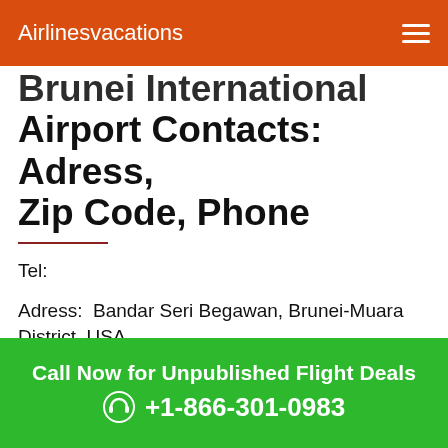Airlinesvacations
Brunei International Airport Contacts: Adress, Zip Code, Phone
Tel:
Adress:  Bandar Seri Begawan, Brunei-Muara District, USA
Web: /
Call Now for Unpublished Flight Deals +1-866-301-0983